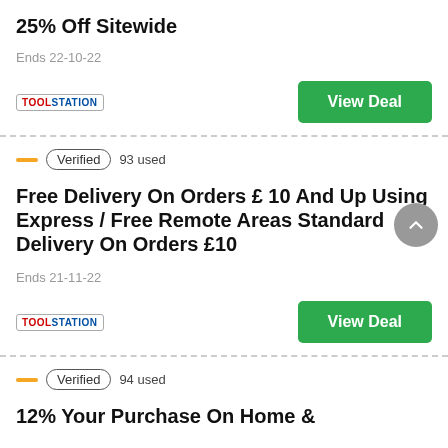25% Off Sitewide
Ends 22-10-22
View Deal
Verified  93 used
Free Delivery On Orders £ 10 And Up Using Express / Free Remote Areas Standard Delivery On Orders £10
Ends 21-11-22
View Deal
Verified  94 used
12% Your Purchase On Home &